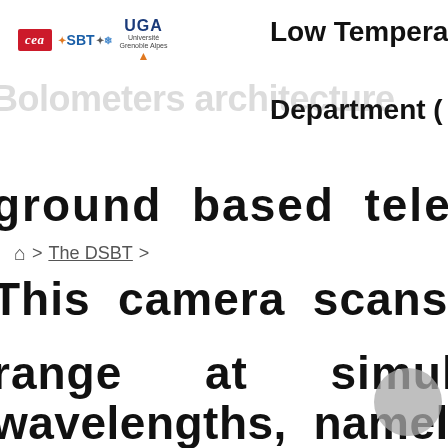[Figure (logo): CEA, SBT, and Université Grenoble Alpes (UGA) logos in the top-left header area]
Low Tempera[ture] Department (
Bolometers architecture
ground based telescop[e]
🏠 > The DSBT >
This camera scans the[…]
range    at    simultane[ously]
wavelengths,  namely  2[…]